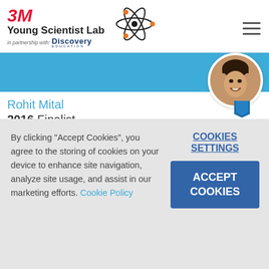3M Young Scientist Lab in partnership with Discovery Education
[Figure (illustration): Atom/molecule logo icon in the center of the header, with electron orbits in black and orange]
[Figure (illustration): Hamburger menu icon (three horizontal lines) in the top right corner]
[Figure (photo): Circular profile photo of Rohit Mital, a young boy smiling, with a blue ribbon/medal beneath the photo]
Rohit Mital
2016 Finalist
Meet Rohit. Wanting to eliminate untimely deaths
By clicking "Accept Cookies", you agree to the storing of cookies on your device to enhance site navigation, analyze site usage, and assist in our marketing efforts. Cookie Policy
COOKIES SETTINGS
ACCEPT COOKIES